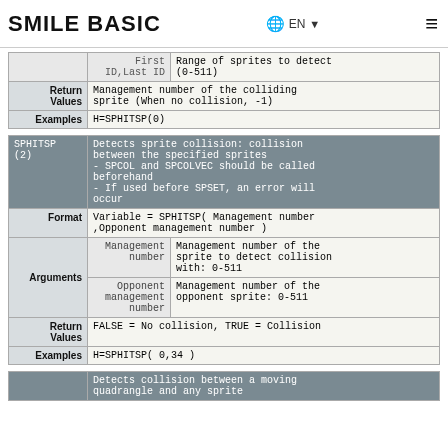SMILE BASIC  EN  ☰
|  | First ID,Last ID | Range of sprites to detect (0-511) |
| Return Values | Management number of the colliding sprite (When no collision, -1) |
| Examples | H=SPHITSP(0) |
| SPHITSP (2) | Detects sprite collision: collision between the specified sprites
- SPCOL and SPCOLVEC should be called beforehand
- If used before SPSET, an error will occur |
| Format | Variable = SPHITSP( Management number ,Opponent management number ) |
| Arguments | Management number | Management number of the sprite to detect collision with: 0-511 |
| Arguments | Opponent management number | Management number of the opponent sprite: 0-511 |
| Return Values | FALSE = No collision, TRUE = Collision |
| Examples | H=SPHITSP( 0,34 ) |
|  | Detects collision between a moving quadrangle and any sprite |